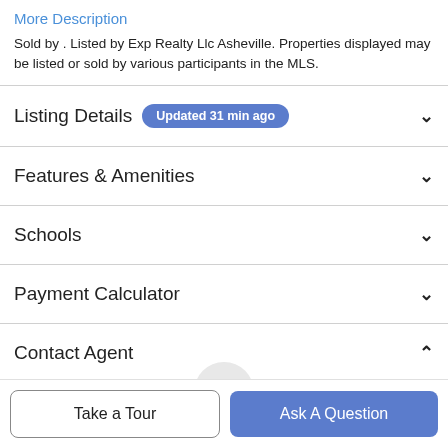More Description
Sold by . Listed by Exp Realty Llc Asheville. Properties displayed may be listed or sold by various participants in the MLS.
Listing Details Updated 31 min ago
Features & Amenities
Schools
Payment Calculator
Contact Agent
Take a Tour
Ask A Question